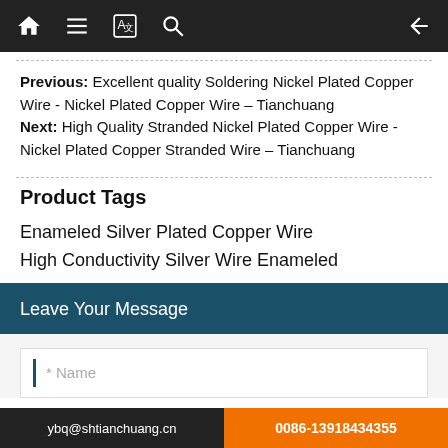Navigation bar with home, menu, translate, search, and back icons
Previous: Excellent quality Soldering Nickel Plated Copper Wire - Nickel Plated Copper Wire – Tianchuang
Next: High Quality Stranded Nickel Plated Copper Wire - Nickel Plated Copper Stranded Wire – Tianchuang
Product Tags
Enameled Silver Plated Copper Wire
High Conductivity Silver Wire Enameled
Leave Your Message
* Name
ybq@shtianchuang.cn    0086-13918434355